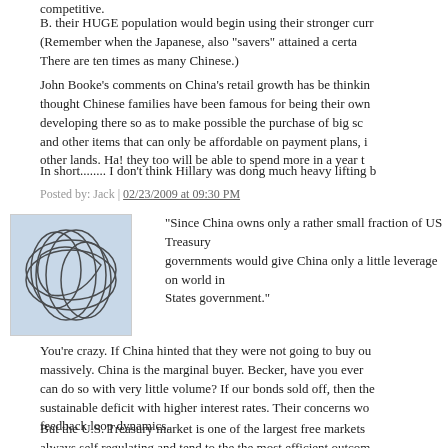competitive.
B. their HUGE population would begin using their stronger curr (Remember when the Japanese, also "savers" attained a certa There are ten times as many Chinese.)
John Booke’s comments on China’s retail growth has be thinkin thought Chinese families have been famous for being their own developing there so as to make possible the purchase of big sc and other items that can only be affordable on payment plans, i other lands. Ha! they too will be able to spend more in a year t
In short........ I don’t think Hillary was dong much heavy lifting b
Posted by: Jack | 02/23/2009 at 09:30 PM
[Figure (illustration): Abstract avatar illustration with overlapping curved lines on a light blue-grey background]
"Since China owns only a rather small fraction of US Treasury governments would give China only a little leverage on world in States government."
You’re crazy. If China hinted that they were not going to buy ou massively. China is the marginal buyer. Becker, have you ever can do so with very little volume? If our bonds sold off, then the sustainable deficit with higher interest rates. Their concerns wo feedback loop dynamics.
But the U.S. Treasury market is one of the largest free markets always self regulating and tend to the the most efficient outcom